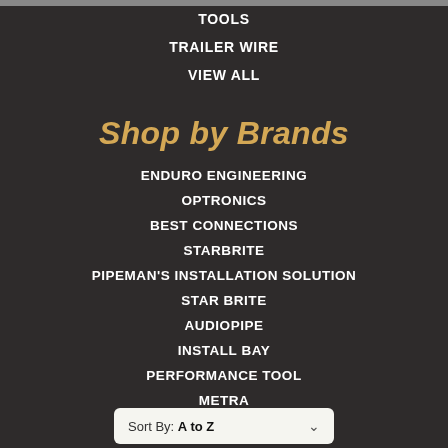TOOLS
TRAILER WIRE
VIEW ALL
Shop by Brands
ENDURO ENGINEERING
OPTRONICS
BEST CONNECTIONS
STARBRITE
PIPEMAN'S INSTALLATION SOLUTION
STAR BRITE
AUDIOPIPE
INSTALL BAY
PERFORMANCE TOOL
METRA
HANDGUARDS
Sort By: A to Z